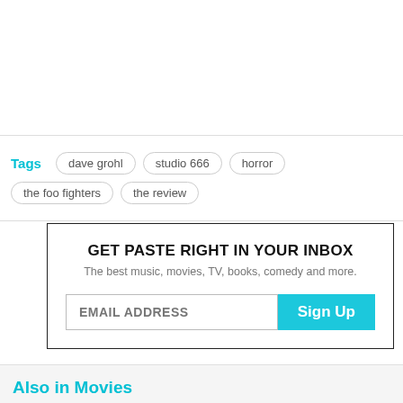Tags
dave grohl
studio 666
horror
the foo fighters
the review
GET PASTE RIGHT IN YOUR INBOX
The best music, movies, TV, books, comedy and more.
EMAIL ADDRESS
Sign Up
Also in Movies